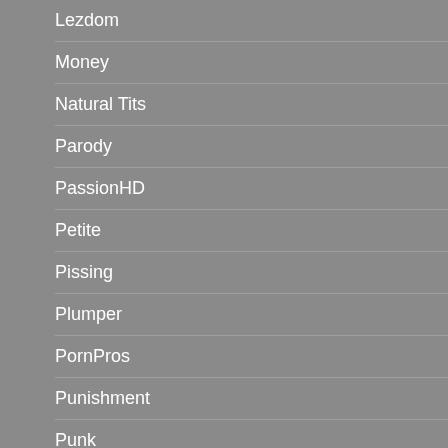Lezdom
Money
Natural Tits
Parody
PassionHD
Petite
Pissing
Plumper
PornPros
Punishment
Punk